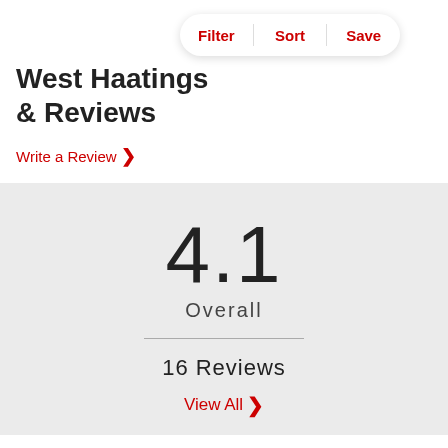West Ha... atings & Reviews
Write a Review >
4.1 Overall
16 Reviews
View All >